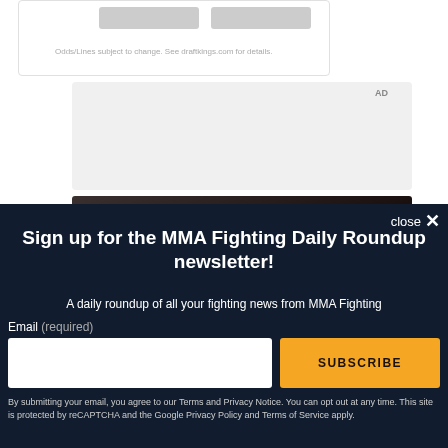Odds/Lines subject to change. See draftkings.com for details.
AD
[Figure (photo): Dark screenshot of a person holding a phone/tablet inside a vehicle, with a play button overlay in the center]
close ×
Sign up for the MMA Fighting Daily Roundup newsletter!
A daily roundup of all your fighting news from MMA Fighting
Email (required)
SUBSCRIBE
By submitting your email, you agree to our Terms and Privacy Notice. You can opt out at any time. This site is protected by reCAPTCHA and the Google Privacy Policy and Terms of Service apply.